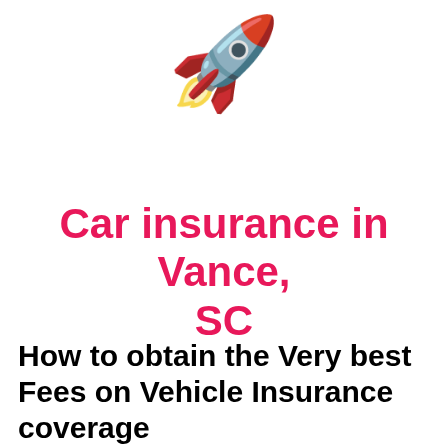[Figure (illustration): Rocket emoji (🚀) — a purple rocket with pink fins and an orange flame, launching upward to the right]
Car insurance in Vance, SC
How to obtain the Very best Fees on Vehicle Insurance coverage